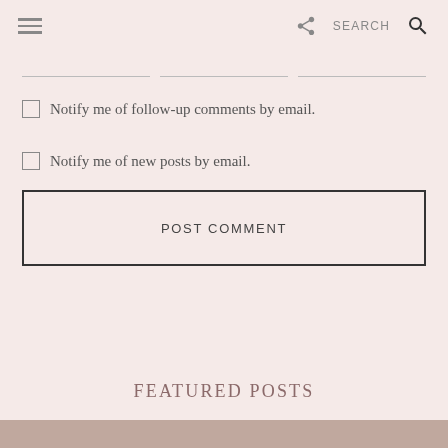≡  SEARCH 🔍
[Figure (screenshot): Three input field boxes lined up horizontally]
☐ Notify me of follow-up comments by email.
☐ Notify me of new posts by email.
POST COMMENT
FEATURED POSTS